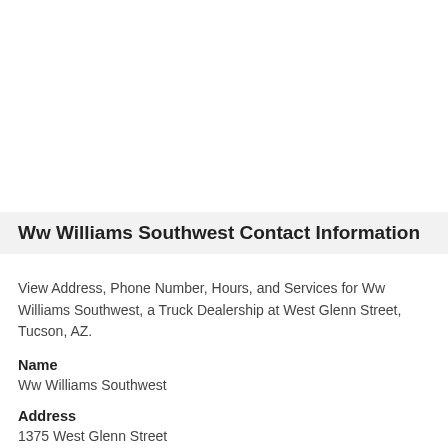Ww Williams Southwest Contact Information
View Address, Phone Number, Hours, and Services for Ww Williams Southwest, a Truck Dealership at West Glenn Street, Tucson, AZ.
Name
Ww Williams Southwest
Address
1375 West Glenn Street
Tucson, Arizona, 85705